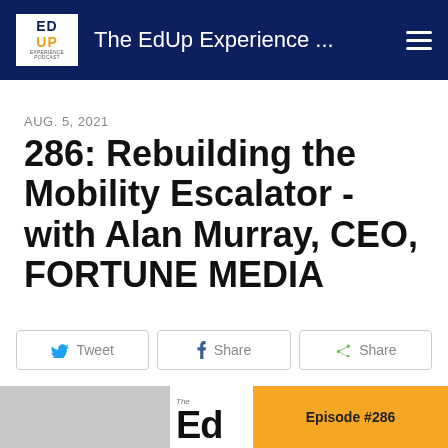The EdUp Experience ...
AUG. 5, 2021
286: Rebuilding the Mobility Escalator - with Alan Murray, CEO, FORTUNE MEDIA
Tweet
Share
Share
[Figure (screenshot): Bottom strip showing podcast episode image with EdUp logo and Episode #286 orange badge]